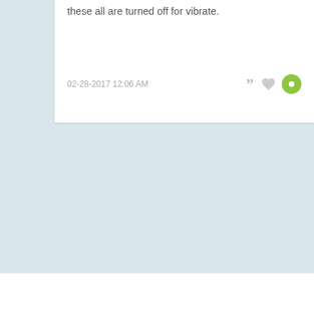these all are turned off for vibrate.
02-28-2017 12:06 AM